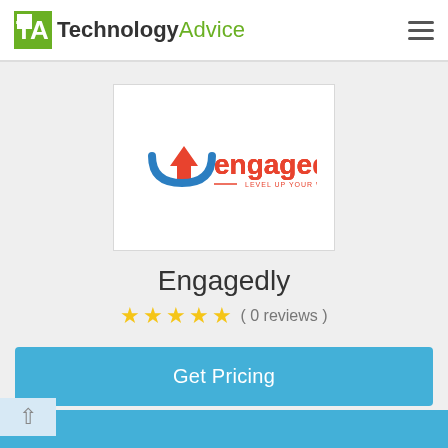TechnologyAdvice
[Figure (logo): Engagedly logo with orange arrow up and blue arrow down, text 'engagedly' in orange and blue, tagline 'LEVEL UP YOUR WORKFORCE']
Engagedly
( 0 reviews )
Get Pricing